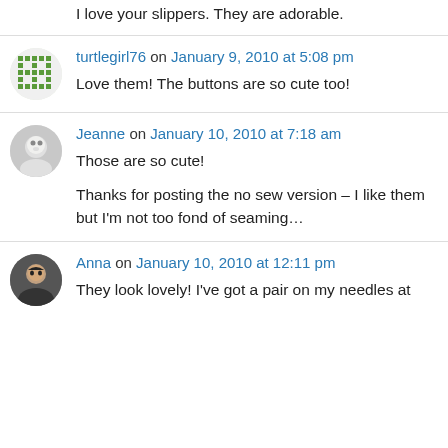I love your slippers. They are adorable.
turtlegirl76 on January 9, 2010 at 5:08 pm
Love them! The buttons are so cute too!
Jeanne on January 10, 2010 at 7:18 am
Those are so cute!
Thanks for posting the no sew version – I like them but I'm not too fond of seaming…
Anna on January 10, 2010 at 12:11 pm
They look lovely! I've got a pair on my needles at